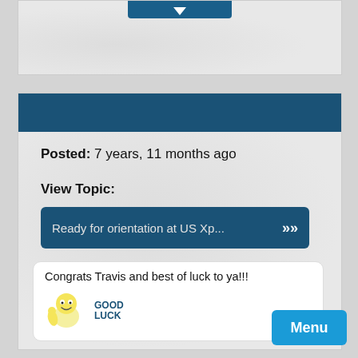[Figure (screenshot): Partial top card with dark blue button at top center]
[Figure (screenshot): Main forum post card with dark blue header bar]
Posted:  7 years, 11 months ago
View Topic:
Ready for orientation at US Xp...
Congrats Travis and best of luck to ya!!!
[Figure (illustration): Good Luck emoji/sticker with yellow cartoon character and GOOD LUCK text in blue]
Menu